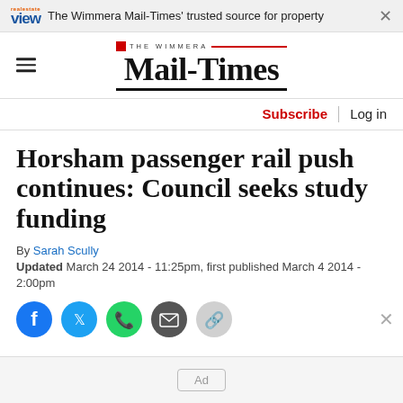The Wimmera Mail-Times' trusted source for property
[Figure (logo): The Wimmera Mail-Times newspaper logo with hamburger menu icon]
Subscribe | Log in
Horsham passenger rail push continues: Council seeks study funding
By Sarah Scully
Updated March 24 2014 - 11:25pm, first published March 4 2014 - 2:00pm
[Figure (other): Social sharing icons: Facebook, Twitter, WhatsApp, Email, Link]
Ad